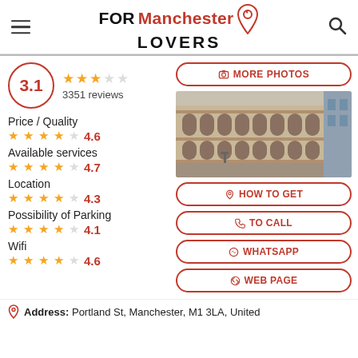FOR Manchester LOVERS
3.1 — 3351 reviews
[Figure (photo): Exterior photo of a large classical stone building in Manchester city centre]
Price / Quality 4.6
Available services 4.7
Location 4.3
Possibility of Parking 4.1
Wifi 4.6
Address: Portland St, Manchester, M1 3LA, United